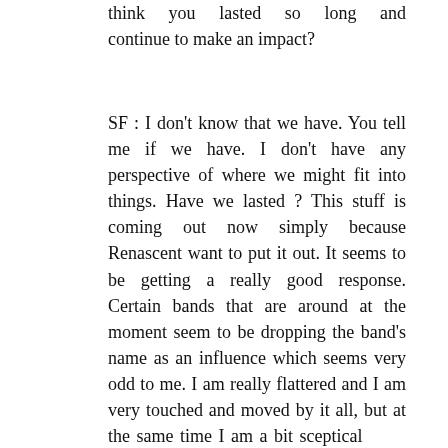think you lasted so long and continue to make an impact?
SF : I don't know that we have. You tell me if we have. I don't have any perspective of where we might fit into things. Have we lasted ? This stuff is coming out now simply because Renascent want to put it out. It seems to be getting a really good response. Certain bands that are around at the moment seem to be dropping the band's name as an influence which seems very odd to me. I am really flattered and I am very touched and moved by it all, but at the same time I am a bit sceptical because whatever happens with these records I am not going to make any money off them because they are owned by Polydor. Basically I don't know. If it